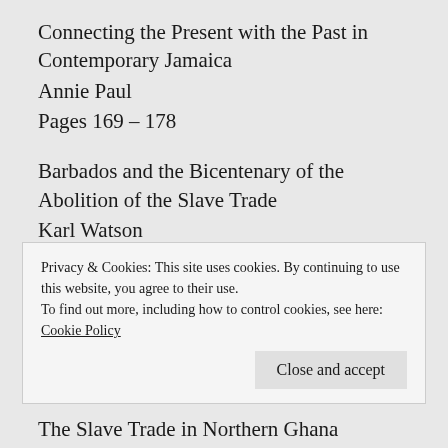Connecting the Present with the Past in Contemporary Jamaica
Annie Paul
Pages 169 – 178
Barbados and the Bicentenary of the Abolition of the Slave Trade
Karl Watson
Pages 179 – 195
Reflections in a Shattered Glass: The British Council's Celebrations of the Bicentenary of
Privacy & Cookies: This site uses cookies. By continuing to use this website, you agree to their use.
To find out more, including how to control cookies, see here: Cookie Policy
Close and accept
The Slave Trade in Northern Ghana